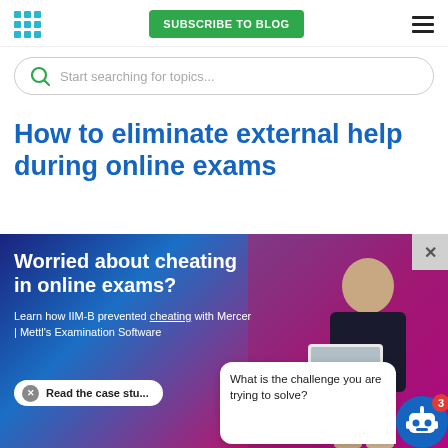SUBSCRIBE TO BLOG
Start searching for topics...
How to eliminate external help during online exams
[Figure (infographic): Modal advertisement popup with gradient blue-to-pink background featuring a man sitting with a laptop, headline 'Worried about cheating in online exams?', subtext about IIM-B and Mercer | Mettl's Examination Software, and a 'Read the case stu...' CTA button.]
What is the challenge you are trying to solve?